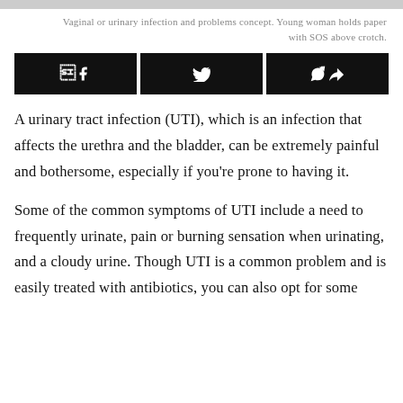[Figure (photo): Image placeholder bar at top of page — gray rectangle representing a photo of a young woman holding a paper with SOS above crotch.]
Vaginal or urinary infection and problems concept. Young woman holds paper with SOS above crotch.
[Figure (other): Social share buttons bar with Facebook, Twitter, and share icons on black backgrounds.]
A urinary tract infection (UTI), which is an infection that affects the urethra and the bladder, can be extremely painful and bothersome, especially if you're prone to having it.
Some of the common symptoms of UTI include a need to frequently urinate, pain or burning sensation when urinating, and a cloudy urine. Though UTI is a common problem and is easily treated with antibiotics, you can also opt for some